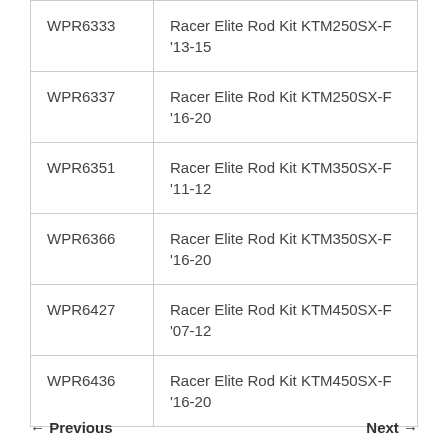| Part Number | Description |
| --- | --- |
| WPR6333 | Racer Elite Rod Kit KTM250SX-F '13-15 |
| WPR6337 | Racer Elite Rod Kit KTM250SX-F '16-20 |
| WPR6351 | Racer Elite Rod Kit KTM350SX-F '11-12 |
| WPR6366 | Racer Elite Rod Kit KTM350SX-F '16-20 |
| WPR6427 | Racer Elite Rod Kit KTM450SX-F '07-12 |
| WPR6436 | Racer Elite Rod Kit KTM450SX-F '16-20 |
← Previous
Next →